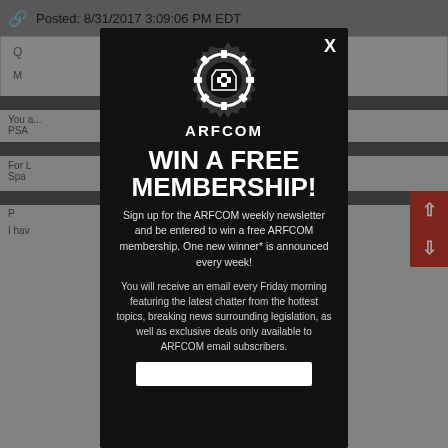Posted: 8/31/2017 3:09:06 PM EDT
[Figure (screenshot): ARFCOM website background with greyed out content showing forum posts]
[Figure (infographic): ARFCOM modal popup with gear logo, 'WIN A FREE MEMBERSHIP!' heading, newsletter signup text, and email input field]
WIN A FREE MEMBERSHIP!
Sign up for the ARFCOM weekly newsletter and be entered to win a free ARFCOM membership. One new winner* is announced every week!
You will receive an email every Friday morning featuring the latest chatter from the hottest topics, breaking news surrounding legislation, as well as exclusive deals only available to ARFCOM email subscribers.